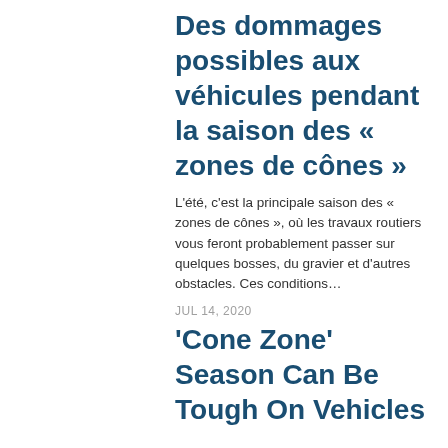Des dommages possibles aux véhicules pendant la saison des « zones de cônes »
L'été, c'est la principale saison des « zones de cônes », où les travaux routiers vous feront probablement passer sur quelques bosses, du gravier et d'autres obstacles. Ces conditions…
JUL 14, 2020
'Cone Zone' Season Can Be Tough On Vehicles